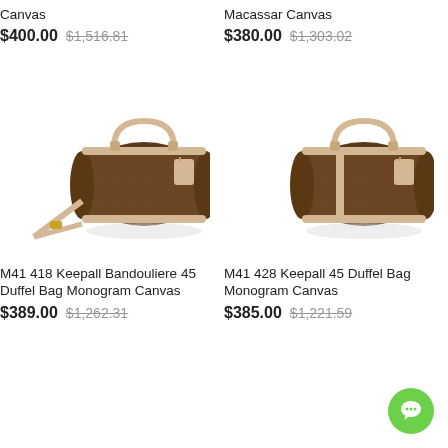Canvas
$400.00  $1,516.81
Macassar Canvas
$380.00  $1,303.02
[Figure (photo): Louis Vuitton Keepall Bandouliere 45 duffel bag with monogram canvas and crossbody strap]
[Figure (photo): Louis Vuitton Keepall 45 duffel bag with monogram canvas, no strap]
M41 418 Keepall Bandouliere 45 Duffel Bag Monogram Canvas
$389.00  $1,262.31
M41 428 Keepall 45 Duffel Bag Monogram Canvas
$385.00  $1,221.59